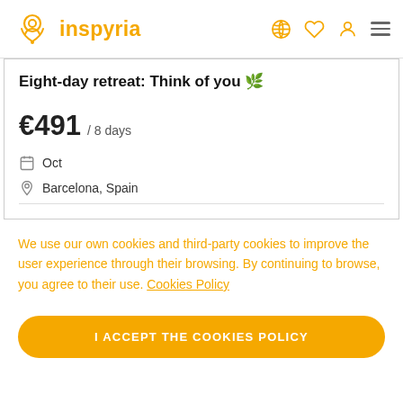inspyria
Eight-day retreat: Think of you 🌿
€491 / 8 days
Oct
Barcelona, Spain
We use our own cookies and third-party cookies to improve the user experience through their browsing. By continuing to browse, you agree to their use. Cookies Policy
I ACCEPT THE COOKIES POLICY